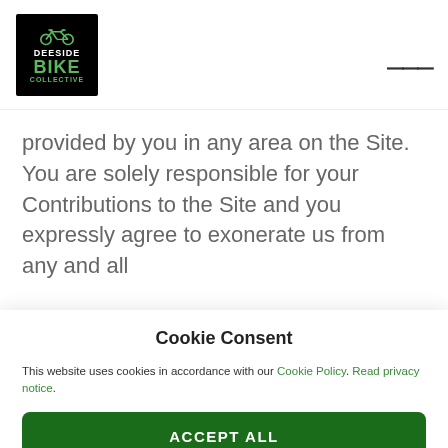Deeside Bike Collective logo and navigation
provided by you in any area on the Site. You are solely responsible for your Contributions to the Site and you expressly agree to exonerate us from any and all
Cookie Consent
This website uses cookies in accordance with our Cookie Policy. Read privacy notice.
ACCEPT ALL
ESSENTIAL COOKIES ONLY
PREFERENCES